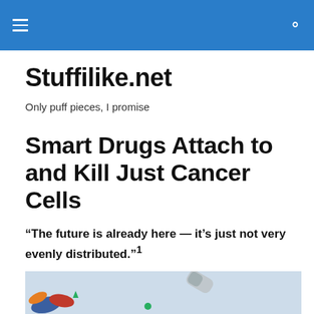Stuffilike.net [hamburger menu + search icon]
Stuffilike.net
Only puff pieces, I promise
Smart Drugs Attach to and Kill Just Cancer Cells
“The future is already here — it’s just not very evenly distributed.”¹
[Figure (photo): Photo of pharmaceutical pills/capsules floating against a light blue background, with colorful small pills or molecules visible at the bottom left.]